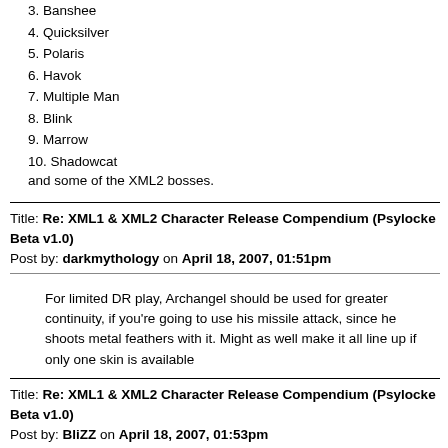3. Banshee
4. Quicksilver
5. Polaris
6. Havok
7. Multiple Man
8. Blink
9. Marrow
10. Shadowcat
and some of the XML2 bosses.
Title: Re: XML1 & XML2 Character Release Compendium (Psylocke Beta v1.0)
Post by: darkmythology on April 18, 2007, 01:51pm
For limited DR play, Archangel should be used for greater continuity, if you're going to use his missile attack, since he shoots metal feathers with it. Might as well make it all line up if only one skin is available
Title: Re: XML1 & XML2 Character Release Compendium (Psylocke Beta v1.0)
Post by: BliZZ on April 18, 2007, 01:53pm
That's what I was thinking. Plus, his wings are shiny :laugh:
Title: Re: XML1 & XML2 Character Release Compendium